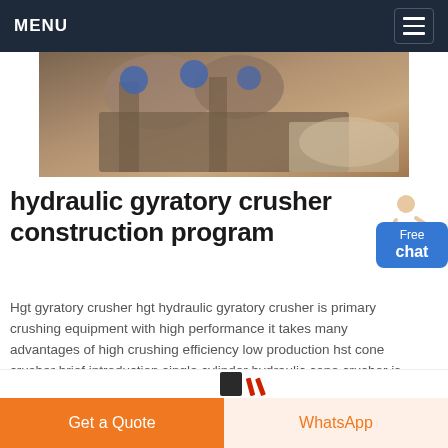MENU
[Figure (photo): Industrial hydraulic gyratory crusher machinery photo showing metal components and blue hoses]
hydraulic gyratory crusher construction program
[Figure (illustration): Person in white coat gesturing, with blue Free chat button widget]
Hgt gyratory crusher hgt hydraulic gyratory crusher is primary crushing equipment with high performance it takes many advantages of high crushing efficiency low production hst cone crusher brief introduction single cylinder hydraulic cone crusher is widely used in mining metallurgy construction highway railroad and water.
Chat Online
Get a Quote | WhatsApp